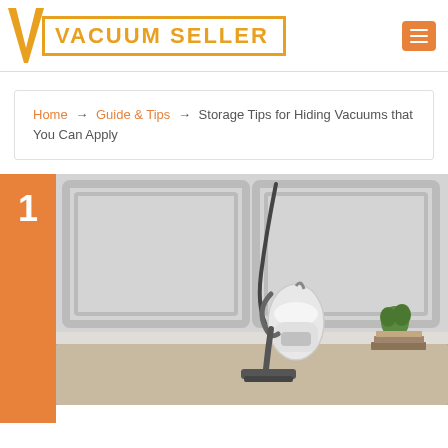[Figure (logo): Vacuum Seller logo with orange V shape and text in orange border box]
Home → Guide & Tips → Storage Tips for Hiding Vacuums that You Can Apply
[Figure (photo): Photo of a canister vacuum cleaner standing upright against a white paneled wall, with a small plant and books on the right side, on a carpet floor. Number 1 tab on the left.]